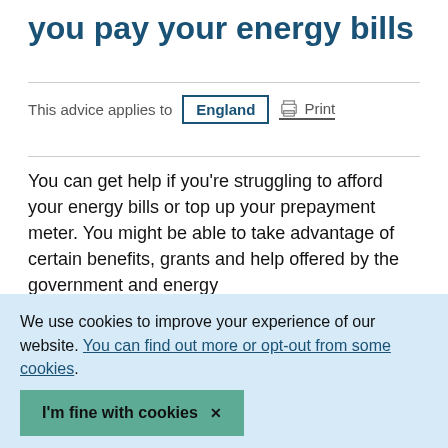you pay your energy bills
This advice applies to England
You can get help if you're struggling to afford your energy bills or top up your prepayment meter. You might be able to take advantage of certain benefits, grants and help offered by the government and energy suppliers.
We use cookies to improve your experience of our website. You can find out more or opt-out from some cookies.
I'm fine with cookies ✕